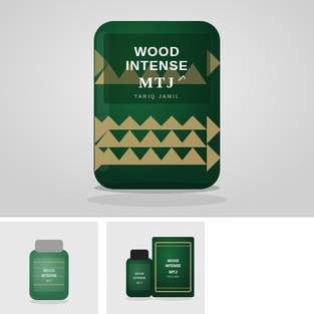[Figure (photo): Close-up product photo of a dark green frosted glass perfume bottle with gold geometric/ikat pattern decoration. The label reads 'WOOD INTENSE' in large letters, then 'MTJ' in large letters with a small pen/quill graphic, and 'TARIQ JAMIL' in smaller text below. The bottle is photographed against a light grey/white background with a subtle reflection visible.]
[Figure (photo): Thumbnail product photo of a small green/frosted glass perfume bottle with grey cap and gold/cream geometric pattern label reading 'WOOD INTENSE MTJ TARIQ JAMIL'. Light grey background.]
[Figure (photo): Thumbnail product photo showing a small green glass perfume bottle with black cap alongside its dark green rectangular product box. Both display the gold ikat pattern and 'WOOD INTENSE MTJ TARIQ JAMIL' branding. Light grey background.]